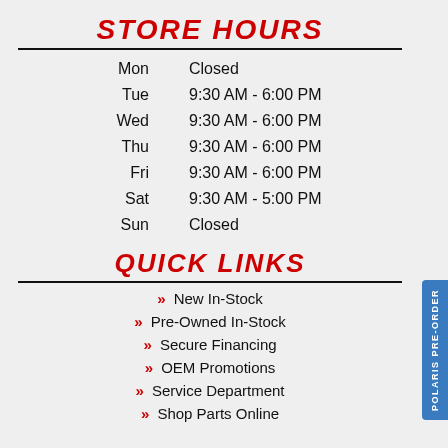STORE HOURS
| Day | Hours |
| --- | --- |
| Mon | Closed |
| Tue | 9:30 AM - 6:00 PM |
| Wed | 9:30 AM - 6:00 PM |
| Thu | 9:30 AM - 6:00 PM |
| Fri | 9:30 AM - 6:00 PM |
| Sat | 9:30 AM - 5:00 PM |
| Sun | Closed |
QUICK LINKS
New In-Stock
Pre-Owned In-Stock
Secure Financing
OEM Promotions
Service Department
Shop Parts Online